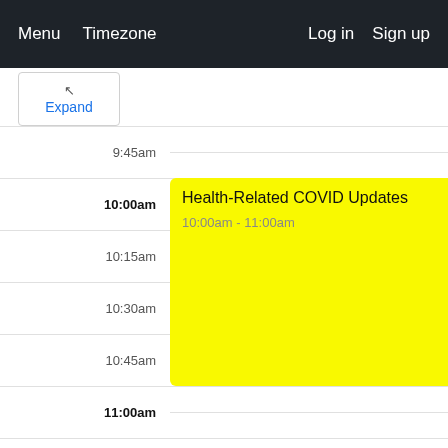Menu  Timezone  Log in  Sign up
[Figure (screenshot): A calendar/schedule view showing time slots from 9:45am to 12:30pm. A yellow event block labeled 'Health-Related COVID Updates, 10:00am - 11:00am' spans from 10:00am to 11:00am. Time labels shown: 9:45am, 10:00am (bold), 10:15am, 10:30am, 10:45am, 11:00am (bold), 11:15am, 11:30am, 11:45am, 12:00pm (bold), 12:15pm, 12:30pm.]